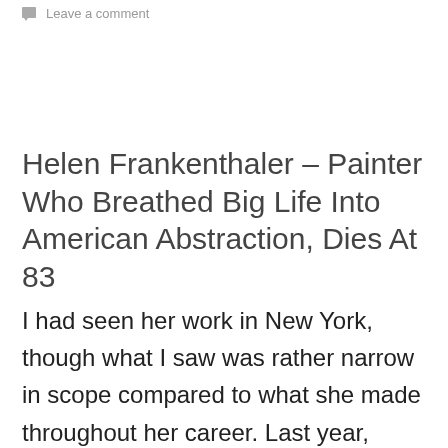Leave a comment
Helen Frankenthaler – Painter Who Breathed Big Life Into American Abstraction, Dies At 83
I had seen her work in New York, though what I saw was rather narrow in scope compared to what she made throughout her career. Last year, when I was up at